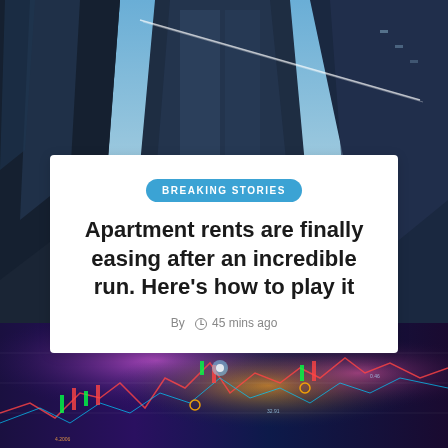[Figure (photo): Looking up at glass skyscrapers against a blue sky with a contrail]
BREAKING STORIES
Apartment rents are finally easing after an incredible run. Here’s how to play it
By  ⌛ 45 mins ago
[Figure (photo): Financial stock market chart with candlesticks and neon lights on dark blue background]